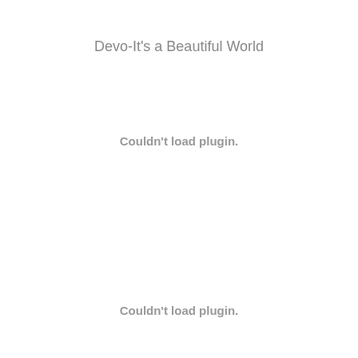Devo-It's a Beautiful World
Couldn't load plugin.
Couldn't load plugin.